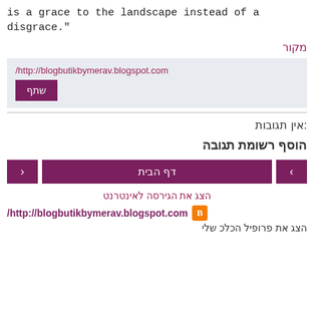is a grace to the landscape instead of a disgrace."
מקור
/http://blogbutikbymerav.blogspot.com
שתף
אין תגובות:
הוסף רשומת תגובה
דף הבית
הצג את הגירסה לאינטרנט
/http://blogbutikbymerav.blogspot.com
הצג את פרופיל הכלכ שלי